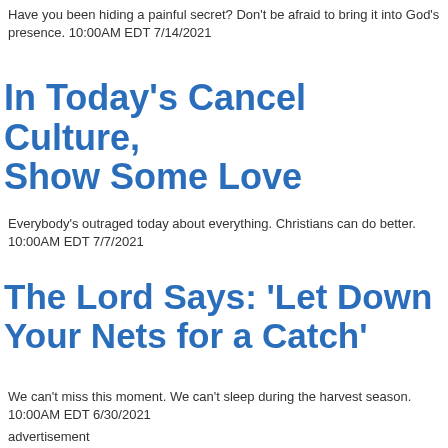Have you been hiding a painful secret? Don't be afraid to bring it into God's presence. 10:00AM EDT 7/14/2021
In Today's Cancel Culture, Show Some Love
Everybody's outraged today about everything. Christians can do better. 10:00AM EDT 7/7/2021
The Lord Says: 'Let Down Your Nets for a Catch'
We can't miss this moment. We can't sleep during the harvest season. 10:00AM EDT 6/30/2021
advertisement